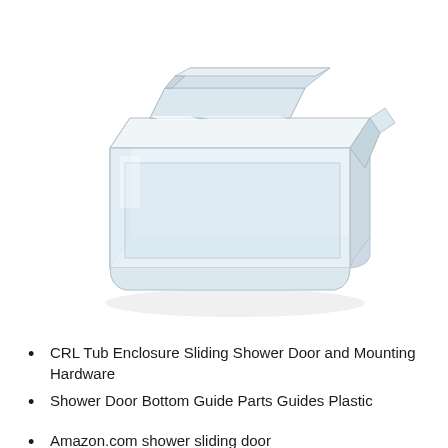[Figure (photo): A transparent/clear plastic shower door bottom guide component - a rectangular elongated clip/channel piece shown in a 3D isometric perspective view against a white background.]
CRL Tub Enclosure Sliding Shower Door and Mounting Hardware
Shower Door Bottom Guide Parts Guides Plastic
Amazon.com shower sliding door